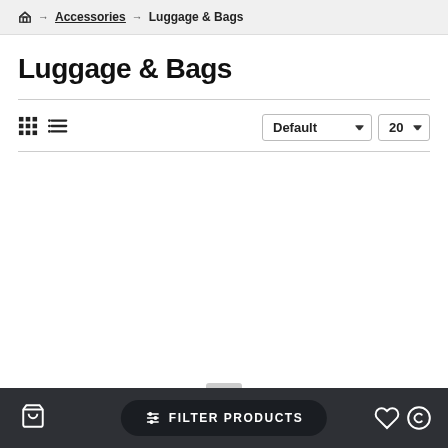🏠 → Accessories → Luggage & Bags
Luggage & Bags
View controls: grid and list icons. Sort: Default, Show: 20
FILTER PRODUCTS | Alpinestars | Alpinestars